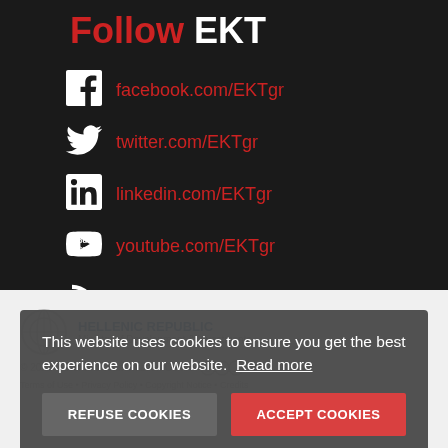Follow EKT
facebook.com/EKTgr
twitter.com/EKTgr
linkedin.com/EKTgr
youtube.com/EKTgr
RSS
HELLENIC REPUBLIC
© 2022 National Documentation Centre.
This website uses cookies to ensure you get the best experience on our website. Read more
REFUSE COOKIES | ACCEPT COOKIES
Terms of Use • Privacy Policy • Copyright Notice • Credits